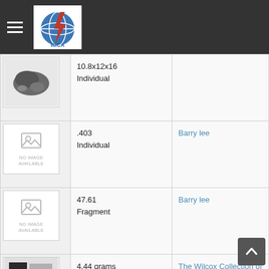IMCA navigation bar with hamburger menu and IMCA logo
| Image | Weight/Type | Seller |
| --- | --- | --- |
| [meteorite image] | 10.8x12x16
Individual |  |
| [no image] | .403
Individual | Barry lee |
| [no image] | 47.61
Fragment | Barry lee |
| [part slice image] | 4.44 grams
Part slice | The Wilcox Collection of Meteorites |
| [oriented stone image] | 1.18 grams
Oriented stone | The Wilcox Collection of Meteorites |